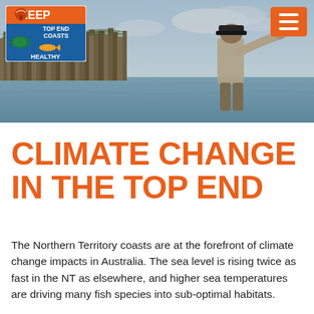[Figure (photo): A man in a hat and light shirt points across a coastal waterway with mangroves/scrubby vegetation along the bank. Sky is light blue with clouds. The 'Keep Top End Coasts Healthy' logo appears in the top left and an orange hamburger menu button in the top right.]
CLIMATE CHANGE IN THE TOP END
The Northern Territory coasts are at the forefront of climate change impacts in Australia. The sea level is rising twice as fast in the NT as elsewhere, and higher sea temperatures are driving many fish species into sub-optimal habitats.